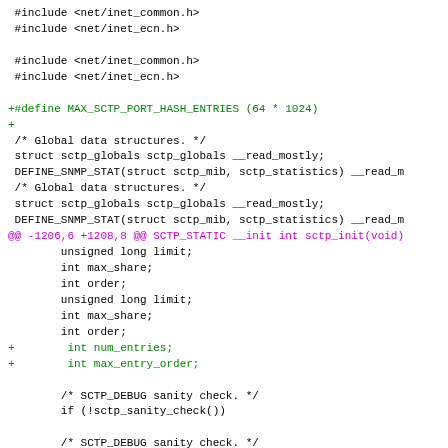#include <net/inet_common.h>
#include <net/inet_ecn.h>

#include <net/inet_common.h>
#include <net/inet_ecn.h>

+#define MAX_SCTP_PORT_HASH_ENTRIES (64 * 1024)
+
 /* Global data structures. */
 struct sctp_globals sctp_globals __read_mostly;
 DEFINE_SNMP_STAT(struct sctp_mib, sctp_statistics) __read_m
 /* Global data structures. */
 struct sctp_globals sctp_globals __read_mostly;
 DEFINE_SNMP_STAT(struct sctp_mib, sctp_statistics) __read_m
@@ -1206,6 +1208,8 @@ SCTP_STATIC __init int sctp_init(void)
        unsigned long limit;
        int max_share;
        int order;
        unsigned long limit;
        int max_share;
        int order;
+        int num_entries;
+        int max_entry_order;

        /* SCTP_DEBUG sanity check. */
        if (!sctp_sanity_check())

        /* SCTP_DEBUG sanity check. */
        if (!sctp_sanity_check())
@@ -1316,14 +1320,24 @@ SCTP_STATIC __init int sctp_init(voi

        /* Size and allocate the association hash table.